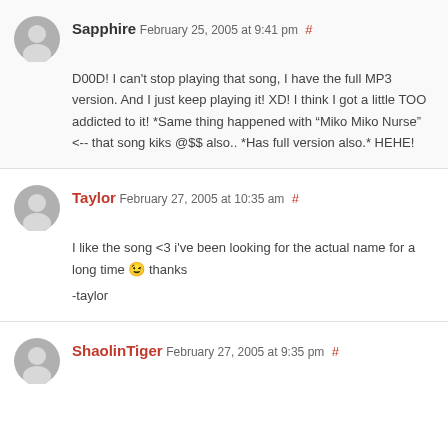Sapphire February 25, 2005 at 9:41 pm # D00D! I can't stop playing that song, I have the full MP3 version. And I just keep playing it! XD! I think I got a little TOO addicted to it! *Same thing happened with “Miko Miko Nurse” <-- that song kiks @$$ also.. *Has full version also.* HEHE!
Taylor February 27, 2005 at 10:35 am # I like the song <3 i've been looking for the actual name for a long time 😉 thanks -taylor
ShaolinTiger February 27, 2005 at 9:35 pm #